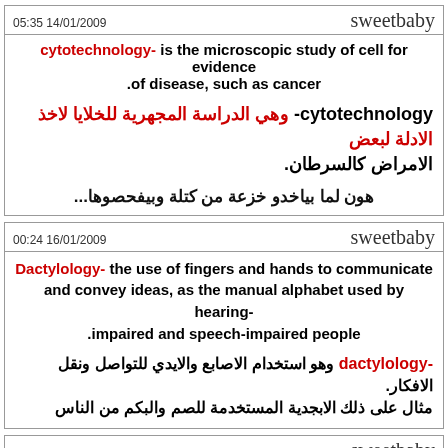05:35 14/01/2009   sweetbaby
cytotechnology- is the microscopic study of cell for evidence of disease, such as cancer.
cytotechnology- وهي الدراسة المجهرية للخلايا لاخذ الادلة لبعض الامراض كالسرطان.
هون لما بياخدو خزعة من كتلة وبيفحصوها...
00:24 16/01/2009   sweetbaby
Dactylology- the use of fingers and hands to communicate and convey ideas, as the manual alphabet used by hearing-impaired and speech-impaired people.
dactylology- وهو استخدام الاصابع والايدي للتواصل ونقل الافكار. مثال على ذلك الابجدية المستخدمة للصم والبكم من الناس
00:31 16/01/2009   sweetbaby
demonology- the systematic study of demons or beliefs about